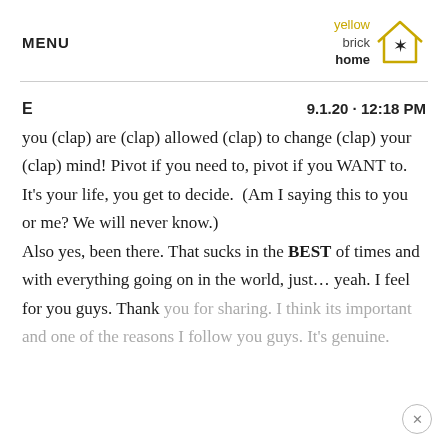MENU | yellow brick home logo
E   9.1.20 · 12:18 PM
you (clap) are (clap) allowed (clap) to change (clap) your (clap) mind! Pivot if you need to, pivot if you WANT to. It’s your life, you get to decide.  (Am I saying this to you or me? We will never know.)
Also yes, been there. That sucks in the BEST of times and with everything going on in the world, just… yeah. I feel for you guys. Thank you for sharing. I think its important and one of the reasons I follow you guys. It’s genuine.